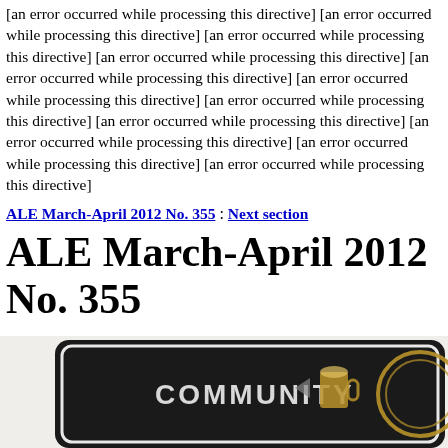[an error occurred while processing this directive] [an error occurred while processing this directive] [an error occurred while processing this directive] [an error occurred while processing this directive] [an error occurred while processing this directive] [an error occurred while processing this directive] [an error occurred while processing this directive] [an error occurred while processing this directive] [an error occurred while processing this directive] [an error occurred while processing this directive] [an error occurred while processing this directive]
ALE March-April 2012 No. 355 : Next section
ALE March-April 2012 No. 355
[Figure (photo): A dark badge/plaque with the text COMMUNITY and a brewing-related logo, showing partial view of what appears to be a CAMRA (Campaign for Real Ale) community badge]